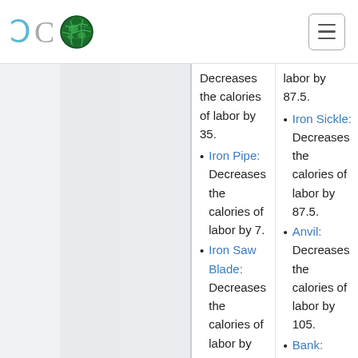[Figure (logo): ECO logo with two letter C shapes in teal/gray and a globe icon]
[Figure (other): Hamburger menu button in top right corner]
Decreases the calories of labor by 35.
Iron Pipe: Decreases the calories of labor by 7.
Iron Saw Blade: Decreases the calories of labor by 87.5.
labor by 87.5.
Iron Sickle: Decreases the calories of labor by 87.5.
Anvil: Decreases the calories of labor by 105.
Bank: Decreases